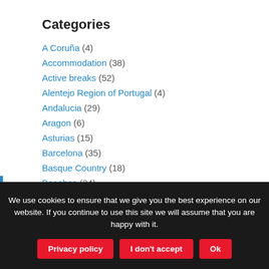Categories
A Coruña (4)
Accommodation (38)
Active breaks (52)
Alentejo Region of Portugal (4)
Andalucia (29)
Aragon (6)
Asturias (15)
Barcelona (35)
Basque Country (18)
Beaches (24)
Bilbao (24)
Cadiz (2)
Camino de Santiago (18)
We use cookies to ensure that we give you the best experience on our website. If you continue to use this site we will assume that you are happy with it.